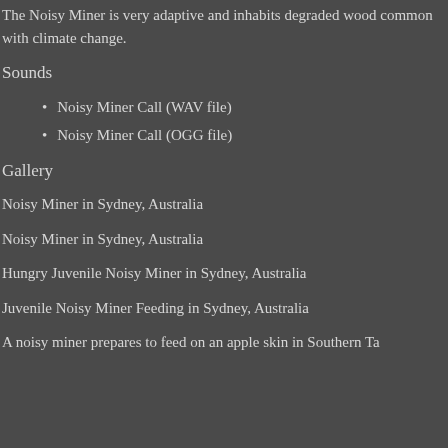The Noisy Miner is very adaptive and inhabits degraded wood common with climate change.
Sounds
Noisy Miner Call (WAV file)
Noisy Miner Call (OGG file)
Gallery
Noisy Miner in Sydney, Australia
Noisy Miner in Sydney, Australia
Hungry Juvenile Noisy Miner in Sydney, Australia
Juvenile Noisy Miner Feeding in Sydney, Australia
A noisy miner prepares to feed on an apple skin in Southern Ta